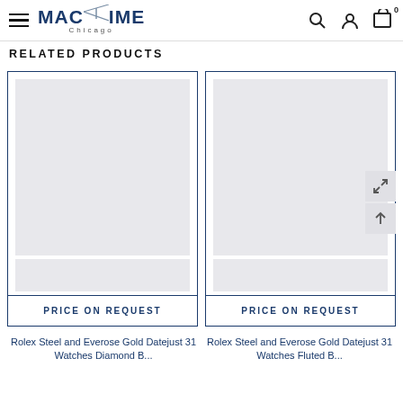MacTime Chicago — navigation bar with hamburger menu, logo, search, account, and cart icons
RELATED PRODUCTS
[Figure (other): Product card placeholder image for Rolex Steel and Everose Gold watch with PRICE ON REQUEST button]
[Figure (other): Product card placeholder image for Rolex Steel and Everose Gold watch with PRICE ON REQUEST button and expand/scroll icons]
Rolex Steel and Everose Gold Datejust 31 Watches Diamond Bezel
Rolex Steel and Everose Gold Datejust 31 Watches Fluted Bezel